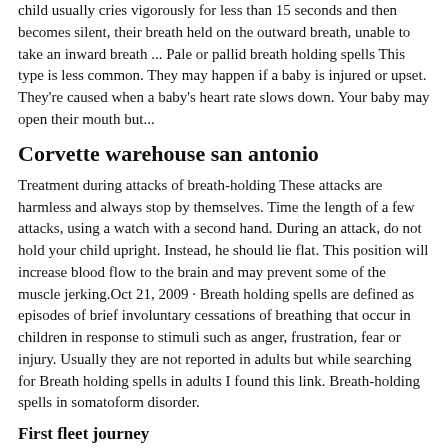child usually cries vigorously for less than 15 seconds and then becomes silent, their breath held on the outward breath, unable to take an inward breath ... Pale or pallid breath holding spells This type is less common. They may happen if a baby is injured or upset. They're caused when a baby's heart rate slows down. Your baby may open their mouth but...
Corvette warehouse san antonio
Treatment during attacks of breath-holding These attacks are harmless and always stop by themselves. Time the length of a few attacks, using a watch with a second hand. During an attack, do not hold your child upright. Instead, he should lie flat. This position will increase blood flow to the brain and may prevent some of the muscle jerking.Oct 21, 2009 · Breath holding spells are defined as episodes of brief involuntary cessations of breathing that occur in children in response to stimuli such as anger, frustration, fear or injury. Usually they are not reported in adults but while searching for Breath holding spells in adults I found this link. Breath-holding spells in somatoform disorder.
First fleet journey
Tesco plants and flowers